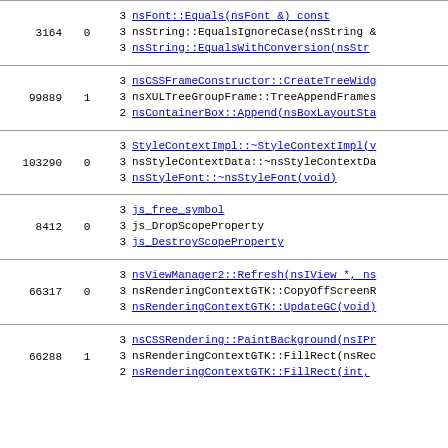| ID | N | Entries |
| --- | --- | --- |
| 3164 | 0 | 3 nsFont::Equals(nsFont &) const
3 nsString::EqualsIgnoreCase(nsString &...
3 nsString::EqualsWithConversion(nsStr... |
| 99889 | 1 | 3 nsCSSFrameConstructor::CreateTreeWidg...
3 nsXULTreeGroupFrame::TreeAppendFrames...
2 nsContainerBox::Append(nsBoxLayoutSta... |
| 103290 | 0 | 3 StyleContextImpl::~StyleContextImpl(...
3 nsStyleContextData::~nsStyleContextDa...
3 nsStyleFont::~nsStyleFont(void) |
| 8412 | 0 | 3 js_free_symbol
3 js_DropScopeProperty
3 js_DestroyScopeProperty |
| 66317 | 0 | 3 nsViewManager2::Refresh(nsIView *, ns...
3 nsRenderingContextGTK::CopyOffScreenP...
3 nsRenderingContextGTK::UpdateGC(void) |
| 66288 | 1 | 3 nsCSSRendering::PaintBackground(nsIPr...
3 nsRenderingContextGTK::FillRect(nsRec...
2 nsRenderingContextGTK::FillRect(int,... |